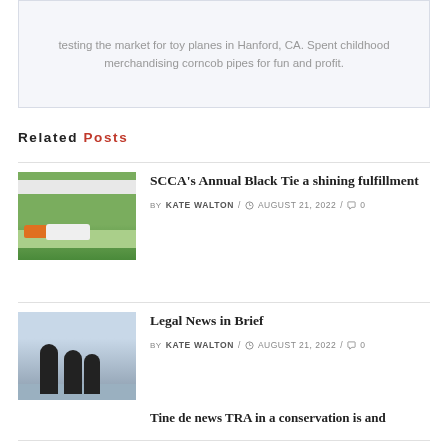testing the market for toy planes in Hanford, CA. Spent childhood merchandising corncob pipes for fun and profit.
Related Posts
[Figure (photo): Racing cars on a track, orange and white cars on green grass circuit]
SCCA's Annual Black Tie a shining fulfillment
BY KATE WALTON / AUGUST 21, 2022 / 0
[Figure (photo): Three business silhouettes standing at a table, office setting]
Legal News in Brief
BY KATE WALTON / AUGUST 21, 2022 / 0